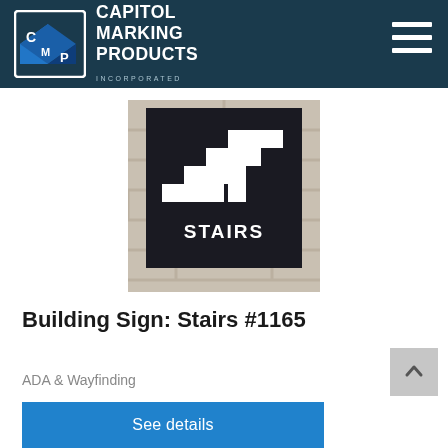Capitol Marking Products Incorporated
[Figure (photo): Black square building sign mounted on white brick wall showing white stair-step icon and the word STAIRS in white text]
Building Sign: Stairs #1165
ADA & Wayfinding
See details